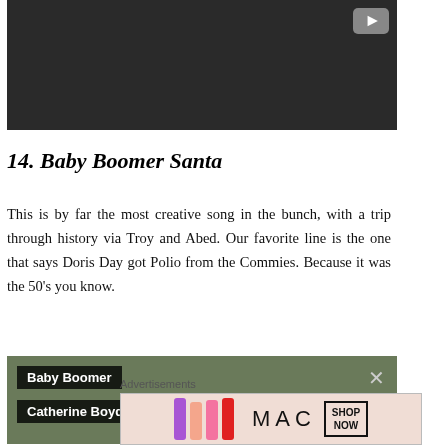[Figure (screenshot): Dark video player thumbnail with YouTube play button icon in top-right corner]
14. Baby Boomer Santa
This is by far the most creative song in the bunch, with a trip through history via Troy and Abed. Our favorite line is the one that says Doris Day got Polio from the Commies. Because it was the 50's you know.
[Figure (screenshot): Video overlay showing 'Baby Boomer' and 'Catherine Boyd' labels with close X button and partial play button text visible]
Advertisements
[Figure (screenshot): MAC Cosmetics advertisement banner showing lipsticks in purple, peach, pink, red colors with MAC logo and SHOP NOW button]